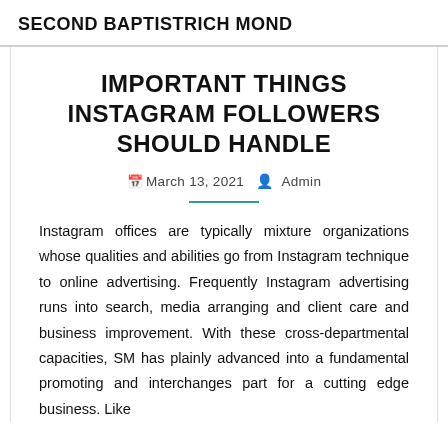SECOND BAPTISTRICH MOND
IMPORTANT THINGS INSTAGRAM FOLLOWERS SHOULD HANDLE
March 13, 2021   Admin
Instagram offices are typically mixture organizations whose qualities and abilities go from Instagram technique to online advertising. Frequently Instagram advertising runs into search, media arranging and client care and business improvement. With these cross-departmental capacities, SM has plainly advanced into a fundamental promoting and interchanges part for a cutting edge business. Like